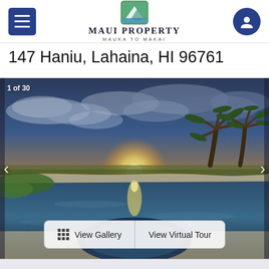[Figure (logo): Maui Property Mauka to Makai logo with mountain and ocean icon in green/teal square]
147 Haniu, Lahaina, HI 96761
[Figure (photo): Luxury infinity pool and hot tub at sunset with palm trees and ocean view, Lahaina Maui. Overlay text: 1 of 30. Buttons: View Gallery, View Virtual Tour]